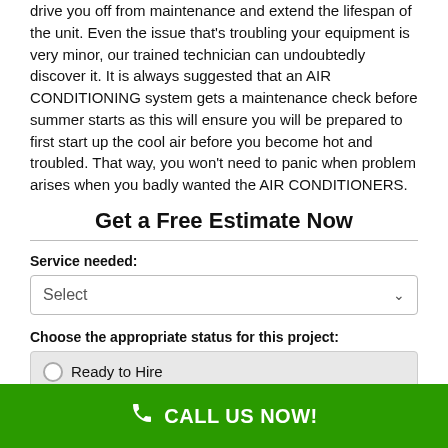drive you off from maintenance and extend the lifespan of the unit. Even the issue that's troubling your equipment is very minor, our trained technician can undoubtedly discover it. It is always suggested that an AIR CONDITIONING system gets a maintenance check before summer starts as this will ensure you will be prepared to first start up the cool air before you become hot and troubled. That way, you won't need to panic when problem arises when you badly wanted the AIR CONDITIONERS.
Get a Free Estimate Now
Service needed:
Select
Choose the appropriate status for this project:
Ready to Hire
CALL US NOW!